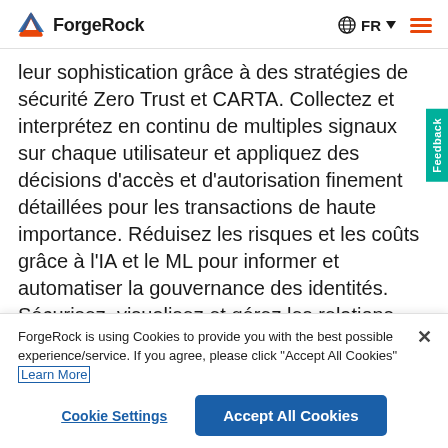ForgeRock | FR
leur sophistication grâce à des stratégies de sécurité Zero Trust et CARTA. Collectez et interprétez en continu de multiples signaux sur chaque utilisateur et appliquez des décisions d'accès et d'autorisation finement détaillées pour les transactions de haute importance. Réduisez les risques et les coûts grâce à l'IA et le ML pour informer et automatiser la gouvernance des identités. Sécurisez, visualisez et gérez les relations
ForgeRock is using Cookies to provide you with the best possible experience/service. If you agree, please click "Accept All Cookies" Learn More
Cookie Settings
Accept All Cookies